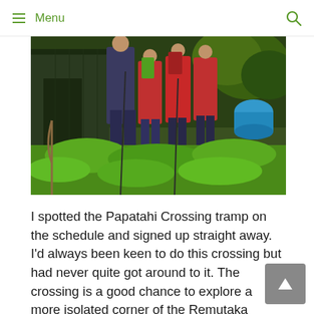≡ Menu
[Figure (photo): Group of hikers with backpacks standing outside a shed in a lush green forest area, with dense vegetation in the foreground and a blue barrel visible on the right side.]
I spotted the Papatahi Crossing tramp on the schedule and signed up straight away. I'd always been keen to do this crossing but had never quite got around to it. The crossing is a good chance to explore a more isolated corner of the Remutaka Forest Park, visit a hut and also to get to … Read more